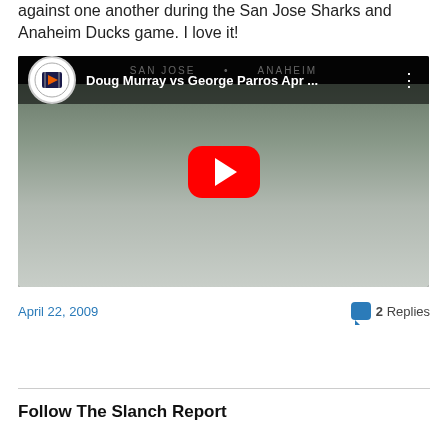against one another during the San Jose Sharks and Anaheim Ducks game. I love it!
[Figure (screenshot): YouTube video thumbnail showing hockey players fighting on ice during San Jose Sharks vs Anaheim Ducks game. Video title: Doug Murray vs George Parros Apr ...]
April 22, 2009    💬 2 Replies
Follow The Slanch Report